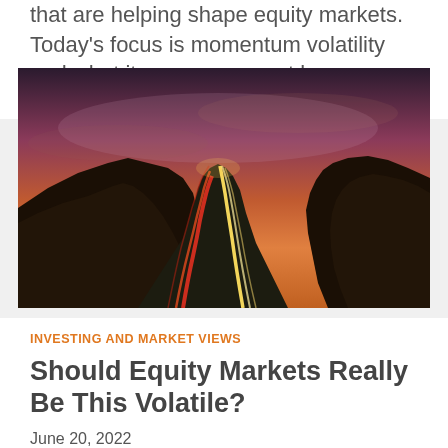that are helping shape equity markets. Today's focus is momentum volatility and what it may or may not be signalling investors.
[Figure (photo): Night photography of a winding desert mountain road with light trails from vehicles — red/orange trails on left lane, yellow/white trails on right lane. Dramatic sky with orange and purple sunset/dusk tones above dark rocky mountain silhouettes.]
INVESTING AND MARKET VIEWS
Should Equity Markets Really Be This Volatile?
June 20, 2022
Every month, AGFiQ highlights the investment factors that are